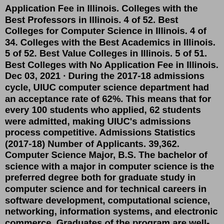Application Fee in Illinois. Colleges with the Best Professors in Illinois. 4 of 52. Best Colleges for Computer Science in Illinois. 4 of 34. Colleges with the Best Academics in Illinois. 5 of 52. Best Value Colleges in Illinois. 5 of 51. Best Colleges with No Application Fee in Illinois. Dec 03, 2021 · During the 2017-18 admissions cycle, UIUC computer science department had an acceptance rate of 62%. This means that for every 100 students who applied, 62 students were admitted, making UIUC's admissions process competitive. Admissions Statistics (2017-18) Number of Applicants. 39,362. Computer Science Major, B.S. The bachelor of science with a major in computer science is the preferred degree both for graduate study in computer science and for technical careers in software development, computational science, networking, information systems, and electronic commerce. Graduates of the program are well-suited for professional ...The UIUC enrollment data publicly available says in 2017 Fall UIUC enrolled 160 students in all majors offered in CS